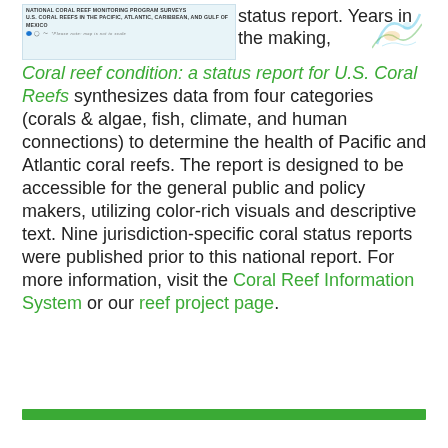[Figure (logo): NOAA National Coral Reef Monitoring Program Surveys logo block with text 'U.S. CORAL REEFS IN THE PACIFIC, ATLANTIC, CARIBBEAN, AND GULF OF MEXICO' and agency icons, with a decorative wave/coral graphic]
status report. Years in the making, Coral reef condition: a status report for U.S. Coral Reefs synthesizes data from four categories (corals & algae, fish, climate, and human connections) to determine the health of Pacific and Atlantic coral reefs. The report is designed to be accessible for the general public and policy makers, utilizing color-rich visuals and descriptive text. Nine jurisdiction-specific coral status reports were published prior to this national report. For more information, visit the Coral Reef Information System or our reef project page.